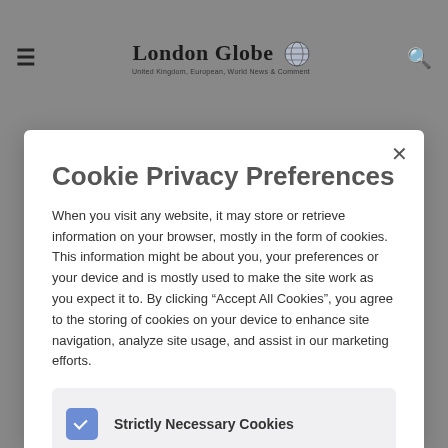London Globe — United Kingdom, European, World News & Comment
Cookie Privacy Preferences
When you visit any website, it may store or retrieve information on your browser, mostly in the form of cookies. This information might be about you, your preferences or your device and is mostly used to make the site work as you expect it to. By clicking “Accept All Cookies”, you agree to the storing of cookies on your device to enhance site navigation, analyze site usage, and assist in our marketing efforts.
Strictly Necessary Cookies (checked)
Performance Cookies (unchecked)
Functional Cookies (unchecked)
Targeting Cookies (unchecked)